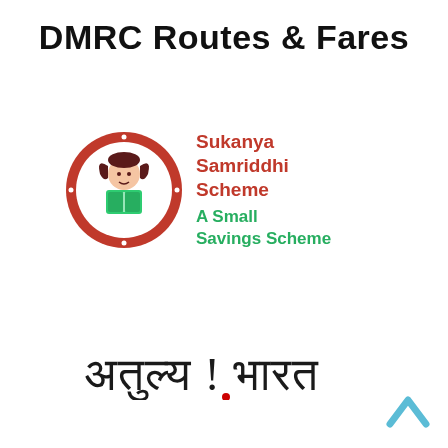DMRC Routes & Fares
[Figure (logo): Sukanya Samriddhi Scheme logo – circular red badge with Hindi text 'Beti Bachao' and 'Beti Padhao', featuring an illustration of a girl reading a book, with red bold text 'Sukanya Samriddhi Scheme' and green bold text 'A Small Savings Scheme']
[Figure (logo): Incredible India logo in Hindi Devanagari script: 'अतुल्य ! भारत' with a red dot under the exclamation mark]
[Figure (other): Upward-pointing caret / chevron arrow icon in cyan/light blue color, positioned at bottom right]